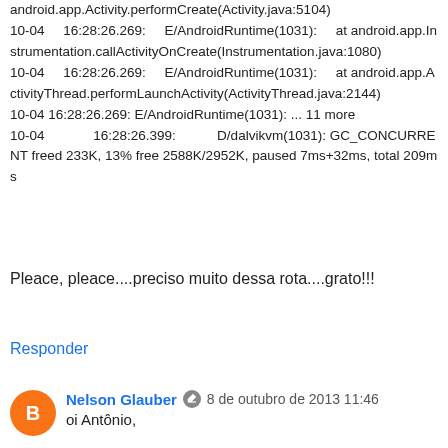android.app.Activity.performCreate(Activity.java:5104)
10-04 16:28:26.269: E/AndroidRuntime(1031): at android.app.Instrumentation.callActivityOnCreate(Instrumentation.java:1080)
10-04 16:28:26.269: E/AndroidRuntime(1031): at android.app.ActivityThread.performLaunchActivity(ActivityThread.java:2144)
10-04 16:28:26.269: E/AndroidRuntime(1031): ... 11 more
10-04 16:28:26.399: D/dalvikvm(1031): GC_CONCURRENT freed 233K, 13% free 2588K/2952K, paused 7ms+32ms, total 209ms
Pleace, pleace....preciso muito dessa rota....grato!!!
Responder
Nelson Glauber 8 de outubro de 2013 11:46
oi Antônio,